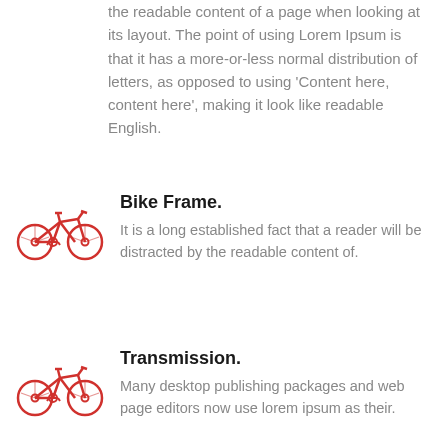the readable content of a page when looking at its layout. The point of using Lorem Ipsum is that it has a more-or-less normal distribution of letters, as opposed to using 'Content here, content here', making it look like readable English.
[Figure (illustration): Red bicycle icon]
Bike Frame.
It is a long established fact that a reader will be distracted by the readable content of.
[Figure (illustration): Red bicycle icon]
Transmission.
Many desktop publishing packages and web page editors now use lorem ipsum as their.
[Figure (illustration): Red bicycle icon]
Bike Computer.
The point of using lorem ipsum is